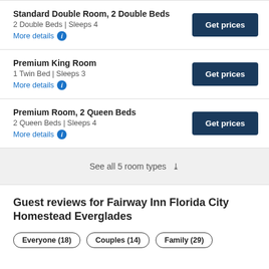Standard Double Room, 2 Double Beds
2 Double Beds | Sleeps 4
More details ℹ
Premium King Room
1 Twin Bed | Sleeps 3
More details ℹ
Premium Room, 2 Queen Beds
2 Queen Beds | Sleeps 4
More details ℹ
See all 5 room types ˅
Guest reviews for Fairway Inn Florida City Homestead Everglades
Everyone (18)
Couples (14)
Family (29)